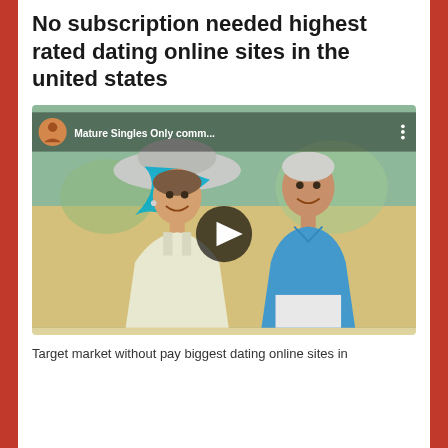No subscription needed highest rated dating online sites in the united states
[Figure (screenshot): YouTube video thumbnail showing a mature couple (woman in white dress and wide-brim hat, man in blue shirt) with a play button overlay. Top bar shows channel avatar and 'Mature Singles Only comm...' channel name. Bottom black bar shows 'MatureSinglesOnly.com']
Target market without pay biggest dating online sites in